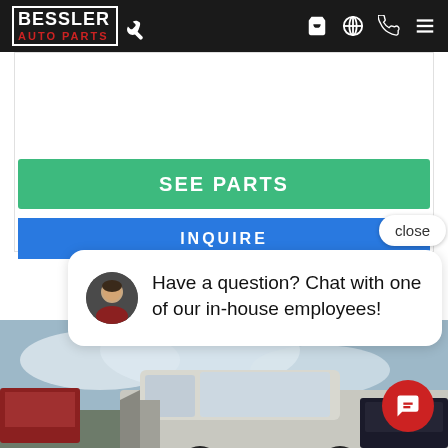Bessler Auto Parts - navigation bar with cart, globe, phone, and menu icons
[Figure (screenshot): Green 'SEE PARTS' button on a white card area]
[Figure (screenshot): Blue 'INQUIRE' button below SEE PARTS button]
close
Have a question? Chat with one of our in-house employees!
[Figure (photo): Silver Chevrolet pickup truck with front-end damage in a salvage/junkyard lot, cloudy sky background]